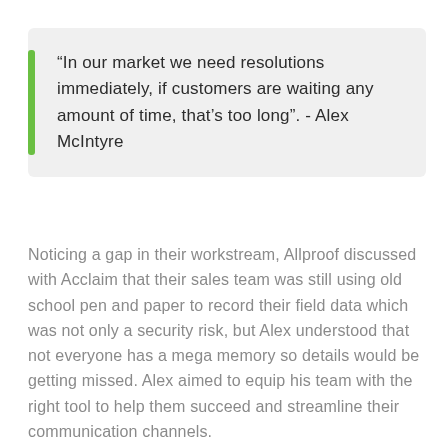“In our market we need resolutions immediately, if customers are waiting any amount of time, that’s too long”. - Alex McIntyre
Noticing a gap in their workstream, Allproof discussed with Acclaim that their sales team was still using old school pen and paper to record their field data which was not only a security risk, but Alex understood that not everyone has a mega memory so details would be getting missed. Alex aimed to equip his team with the right tool to help them succeed and streamline their communication channels.